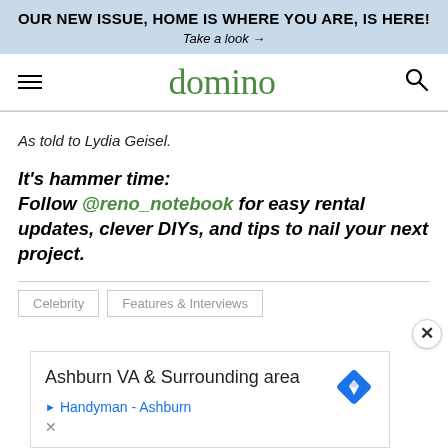OUR NEW ISSUE, HOME IS WHERE YOU ARE, IS HERE! Take a look →
domino
As told to Lydia Geisel.
It's hammer time: Follow @reno_notebook for easy rental updates, clever DIYs, and tips to nail your next project.
Celebrity   Features & Interviews
[Figure (other): Advertisement overlay: Ashburn VA & Surrounding area, Handyman - Ashburn link, with map/navigation diamond icon and close button]